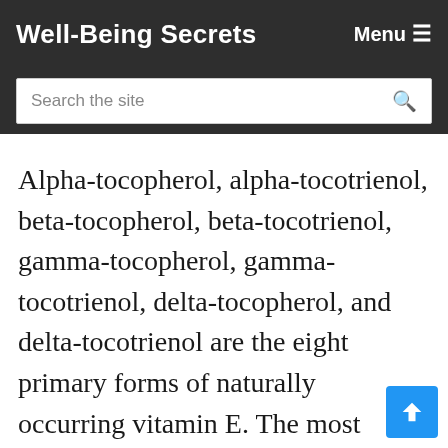Well-Being Secrets  Menu ≡
Search the site
Alpha-tocopherol, alpha-tocotrienol, beta-tocopherol, beta-tocotrienol, gamma-tocopherol, gamma-tocotrienol, delta-tocopherol, and delta-tocotrienol are the eight primary forms of naturally occurring vitamin E. The most prevalent form of vitamin E in human tissue is alpha-tocopherol, which is also the only form “certified to fulfill human needs,” meaning it is the type used to treat vitamin E insufficiency sympton